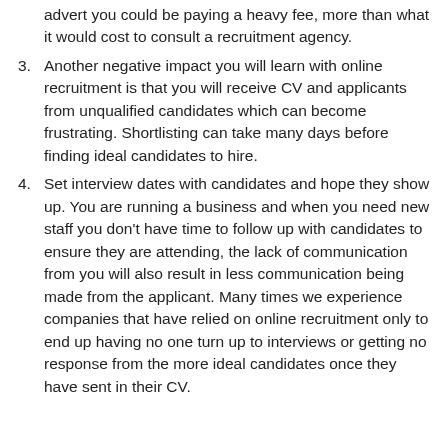advert you could be paying a heavy fee, more than what it would cost to consult a recruitment agency.
3. Another negative impact you will learn with online recruitment is that you will receive CV and applicants from unqualified candidates which can become frustrating. Shortlisting can take many days before finding ideal candidates to hire.
4. Set interview dates with candidates and hope they show up. You are running a business and when you need new staff you don't have time to follow up with candidates to ensure they are attending, the lack of communication from you will also result in less communication being made from the applicant. Many times we experience companies that have relied on online recruitment only to end up having no one turn up to interviews or getting no response from the more ideal candidates once they have sent in their CV.